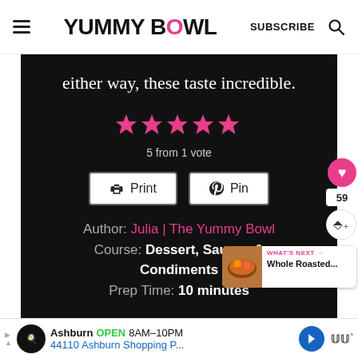YUMMY BOWL | SUBSCRIBE
either way, these taste incredible.
[Figure (other): Five pink star rating icons]
5 from 1 vote
Print | Pin
Author: Julia | The Yummy Bowl
Course: Dessert, Sauces & Condiments
Prep Time: 10 minutes
Ashburn OPEN 8AM–10PM 44110 Ashburn Shopping P...